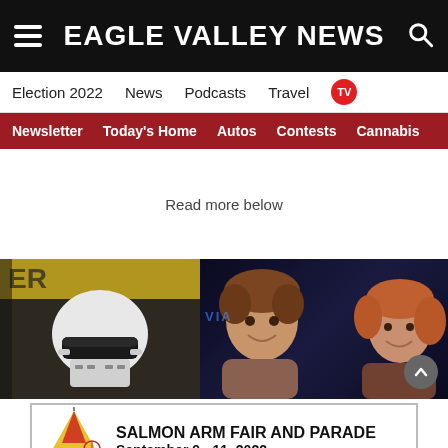EAGLE VALLEY NEWS
Election 2022  News  Podcasts  Travel  TV
Newsletter  Today's Home  Autos  Contests  Cannabis
Read more below
[Figure (photo): Left: A Stormtrooper costume character in front of a yellow backdrop. Right: A young man with curly brown hair smiling next to a woman with reddish-blonde hair at what appears to be a movie premiere event with blue lighting.]
[Figure (infographic): Salmon Arm Fair and Parade advertisement banner with cartoon fair logo, text reading SALMON ARM FAIR AND PARADE September 9 - 11, 2022]